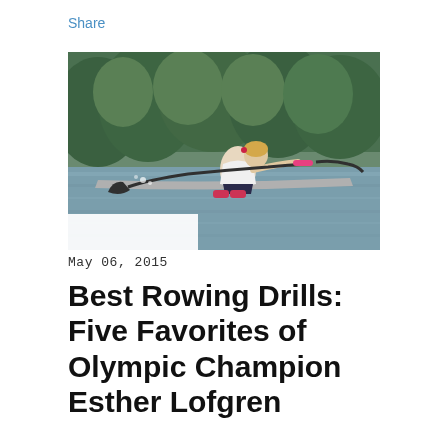Share
[Figure (photo): A woman rowing a single scull on a river, with green trees in the background. She is wearing a white t-shirt and dark shorts, holding carbon fiber oars with pink accents.]
May 06, 2015
Best Rowing Drills: Five Favorites of Olympic Champion Esther Lofgren